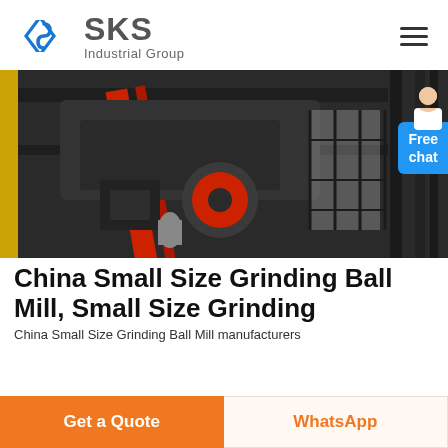[Figure (logo): SKS Industrial Group logo with blue chevron/S-shaped icon and grey text 'SKS' and 'Industrial Group']
[Figure (photo): Industrial grinding ball mill machinery photo — large black/grey mechanical equipment with red belt/stripe visible, shot from below inside an industrial facility]
China Small Size Grinding Ball Mill, Small Size Grinding
China Small Size Grinding Ball Mill manufacturers
Get a Quote
WhatsApp